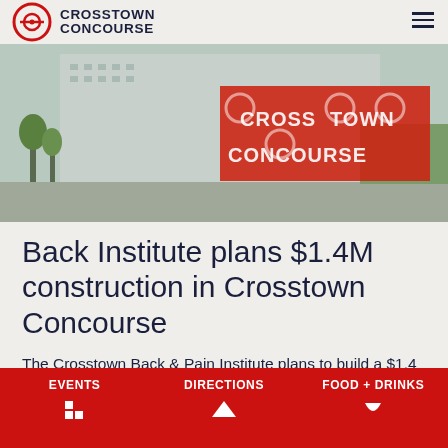[Figure (logo): Crosstown Concourse logo with red circle and bold text]
[Figure (photo): Crosstown Concourse building exterior with large red block letters spelling CROSSTOWN CONCOURSE]
Back Institute plans $1.4M construction in Crosstown Concourse
The Crosstown Back & Pain Institute plans to build a $1.4 million facility inside Crosstown Concourse, according to new building-permit documents.
Document filed Friday show the medical group
EVENTS   DIRECTIONS   FOOD + DRINKS